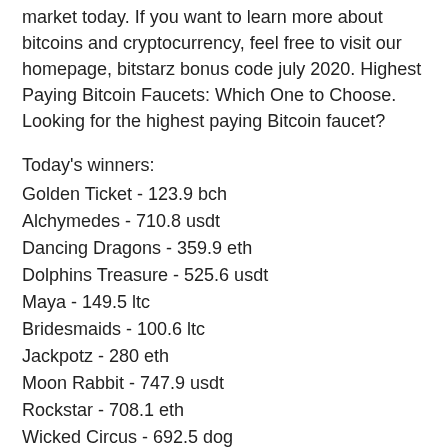market today. If you want to learn more about bitcoins and cryptocurrency, feel free to visit our homepage, bitstarz bonus code july 2020. Highest Paying Bitcoin Faucets: Which One to Choose. Looking for the highest paying Bitcoin faucet?
Today's winners:
Golden Ticket - 123.9 bch
Alchymedes - 710.8 usdt
Dancing Dragons - 359.9 eth
Dolphins Treasure - 525.6 usdt
Maya - 149.5 ltc
Bridesmaids - 100.6 ltc
Jackpotz - 280 eth
Moon Rabbit - 747.9 usdt
Rockstar - 708.1 eth
Wicked Circus - 692.5 dog
Shaolin Spin - 177.4 usdt
Bangkok Nights - 655 dog
The Legend of Shaolin - 559 dog